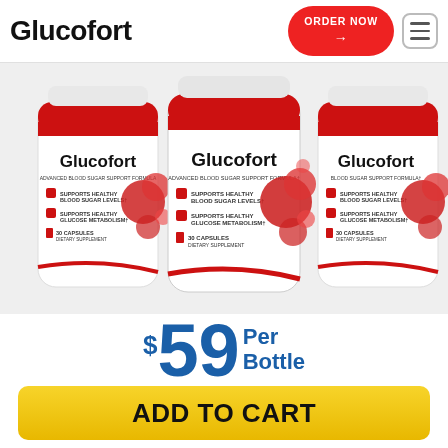Glucofort
[Figure (photo): Three white supplement bottles labeled Glucofort Advanced Blood Sugar Support Formula, 30 capsules dietary supplement, with red accent graphics]
$59 Per Bottle
YOU SAVE $351!
ADD TO CART